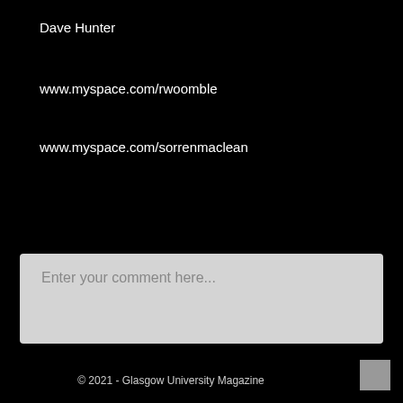Dave Hunter
www.myspace.com/rwoomble
www.myspace.com/sorrenmaclean
Enter your comment here...
© 2021 - Glasgow University Magazine